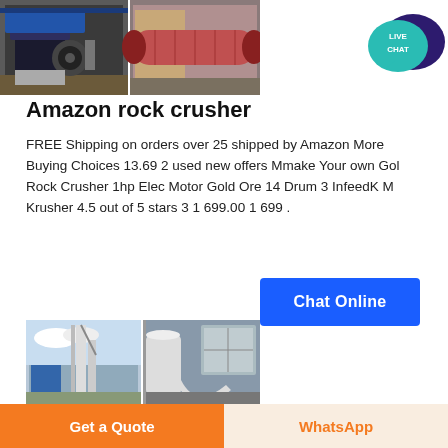[Figure (photo): Two industrial rock crusher machine photos side by side]
[Figure (illustration): Live Chat speech bubble icon in teal and dark purple]
Amazon rock crusher
FREE Shipping on orders over 25 shipped by Amazon More Buying Choices 13.69 2 used new offers Mmake Your own Gol Rock Crusher 1hp Elec Motor Gold Ore 14 Drum 3 InfeedK M Krusher 4.5 out of 5 stars 3 1 699.00 1 699 .
[Figure (illustration): Chat Online blue button]
[Figure (photo): Two industrial mill/crusher machine photos side by side]
Get a Quote
WhatsApp